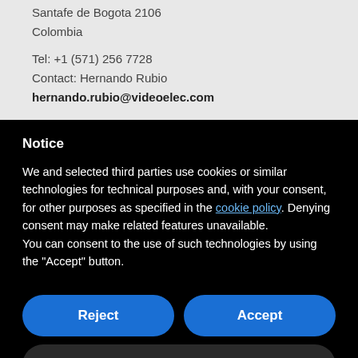Santafe de Bogota 2106
Colombia
Tel: +1 (571) 256 7728
Contact: Hernando Rubio
hernando.rubio@videoelec.com
Notice
We and selected third parties use cookies or similar technologies for technical purposes and, with your consent, for other purposes as specified in the cookie policy. Denying consent may make related features unavailable.
You can consent to the use of such technologies by using the “Accept” button.
Reject
Accept
Learn more and customize